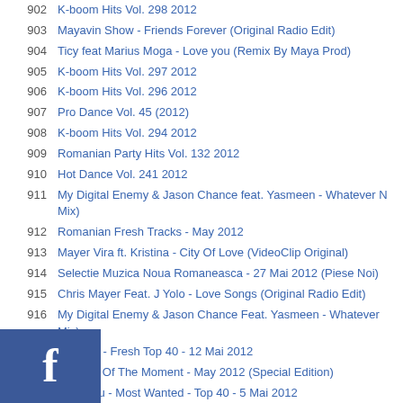902  K-boom Hits Vol. 298 2012
903  Mayavin Show - Friends Forever (Original Radio Edit)
904  Ticy feat Marius Moga - Love you (Remix By Maya Prod)
905  K-boom Hits Vol. 297 2012
906  K-boom Hits Vol. 296 2012
907  Pro Dance Vol. 45 (2012)
908  K-boom Hits Vol. 294 2012
909  Romanian Party Hits Vol. 132 2012
910  Hot Dance Vol. 241 2012
911  My Digital Enemy & Jason Chance feat. Yasmeen - Whatever N Mix)
912  Romanian Fresh Tracks - May 2012
913  Mayer Vira ft. Kristina - City Of Love (VideoClip Original)
914  Selectie Muzica Noua Romaneasca - 27 Mai 2012 (Piese Noi)
915  Chris Mayer Feat. J Yolo - Love Songs (Original Radio Edit)
916  My Digital Enemy & Jason Chance Feat. Yasmeen - Whatever Mix)
917  Kiss Fm - Fresh Top 40 - 12 Mai 2012
918  Hot Hits Of The Moment - May 2012 (Special Edition)
919  Radio Zu - Most Wanted - Top 40 - 5 Mai 2012
920  K-boom Hits Vol. 280 2012
[Figure (logo): Facebook logo - white letter f on blue square background]